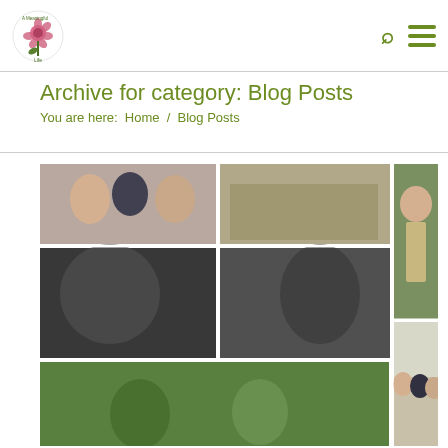[Figure (logo): A Meaningful Life logo with pink flower]
Archive for category: Blog Posts
You are here:  Home  /  Blog Posts
[Figure (photo): Photo collage of wedding/event photos showing couples and groups of people, some in black and white, set outdoors and indoors]